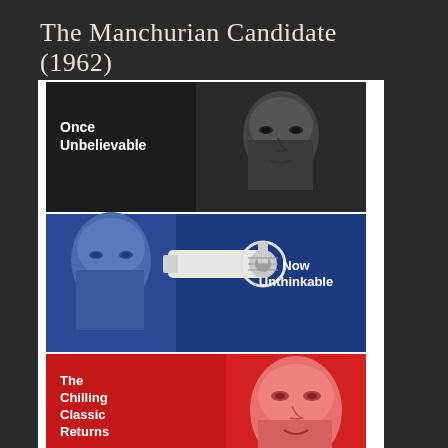The Manchurian Candidate (1962)
[Figure (photo): Movie poster for The Manchurian Candidate (1962) with three horizontal panels: top black panel with text 'Once Unbelievable' and a man's face, middle blue panel with a man's face and gun with text 'Now Unthinkable', bottom red panel with text 'The Chilling Classic Returns' and a woman's face. Below: cast names Frank Sinatra, Laurence Harvey, Janet Leigh. At bottom: The Manchurian logo in red.]